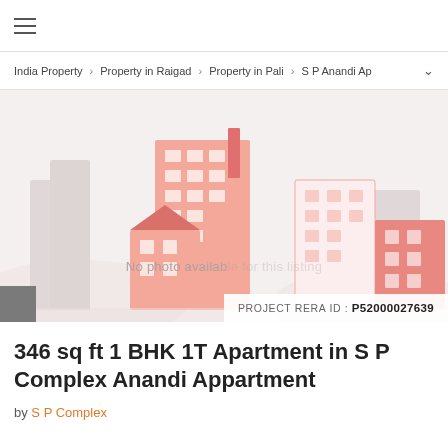≡
India Property > Property in Raigad > Property in Pali > S P Anandi Ap
[Figure (illustration): City buildings illustration with pink/salmon colored buildings as a placeholder image. Text overlay reads 'No photo available' and 'PROJECT RERA ID : P52000027639']
346 sq ft 1 BHK 1T Apartment in S P Complex Anandi Appartment
by S P Complex